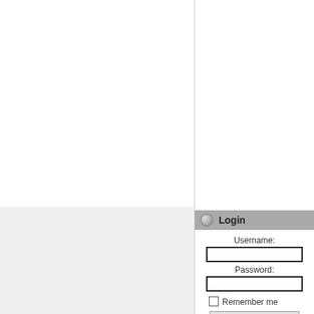Register To Post
#12
Posted on: 2012/2/5 3:52
Login
Username:
Password:
Remember me
User Login